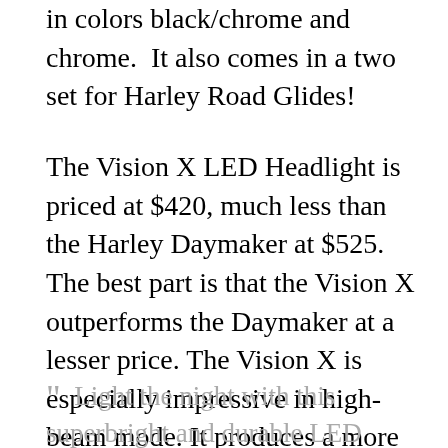in colors black/chrome and chrome.  It also comes in a two set for Harley Road Glides!
The Vision X LED Headlight is priced at $420, much less than the Harley Daymaker at $525. The best part is that the Vision X outperforms the Daymaker at a lesser price. The Vision X is especially impressive in high-beam mode. It produces a more white, thicker, wider, & brighter light than the Daymaker. You'll want to watch my video to see what I'm talking about.  Here is what Ciro 3D says about it.
“ Light the night with this superbright and durable LED headlight from